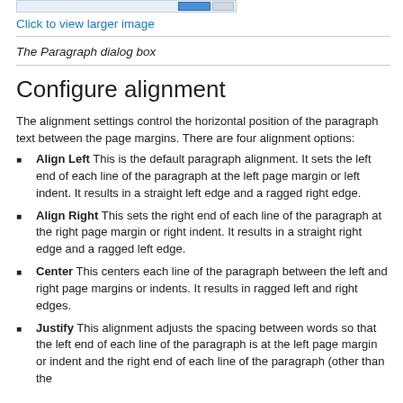[Figure (screenshot): Top portion of a dialog box screenshot, showing a toolbar-like strip with a blue button]
Click to view larger image
The Paragraph dialog box
Configure alignment
The alignment settings control the horizontal position of the paragraph text between the page margins. There are four alignment options:
Align Left This is the default paragraph alignment. It sets the left end of each line of the paragraph at the left page margin or left indent. It results in a straight left edge and a ragged right edge.
Align Right This sets the right end of each line of the paragraph at the right page margin or right indent. It results in a straight right edge and a ragged left edge.
Center This centers each line of the paragraph between the left and right page margins or indents. It results in ragged left and right edges.
Justify This alignment adjusts the spacing between words so that the left end of each line of the paragraph is at the left page margin or indent and the right end of each line of the paragraph (other than the